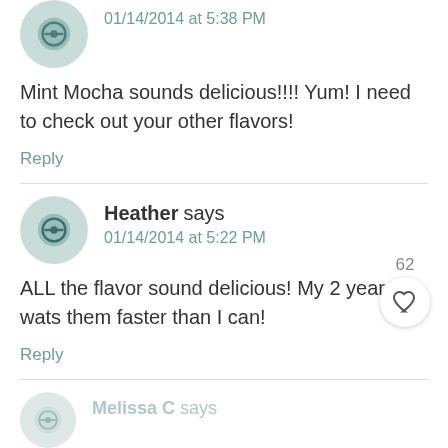01/14/2014 at 5:38 PM
Mint Mocha sounds delicious!!!! Yum! I need to check out your other flavors!
Reply
Heather says
01/14/2014 at 5:22 PM
ALL the flavor sound delicious! My 2 year old wats them faster than I can!
Reply
Melissa C says